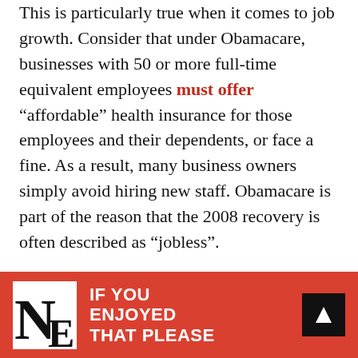This is particularly true when it comes to job growth. Consider that under Obamacare, businesses with 50 or more full-time equivalent employees must offer "affordable" health insurance for those employees and their dependents, or face a fine. As a result, many business owners simply avoid hiring new staff. Obamacare is part of the reason that the 2008 recovery is often described as "jobless".
Hopefully President Trump repeals and replaces Obamacare, as he said he would. Otherwise, job growth will continue to be stymied.
[Figure (other): Red banner with NE logo on left, text 'IF YOU ENJOYED THAT PLEASE' in white bold, and a black arrow button on the right]